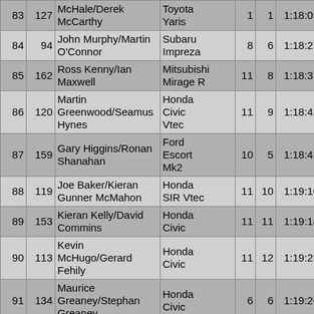| Pos | No | Name | Car | Cl | ClP | Time | Pen |
| --- | --- | --- | --- | --- | --- | --- | --- |
| 83 | 127 | McHale/Derek McCarthy | Toyota Yaris | 1 | 1 | 1:18:05 | 17:27 |
| 84 | 94 | John Murphy/Martin O'Connor | Subaru Impreza | 8 | 6 | 1:18:27 | 17:49 |
| 85 | 162 | Ross Kenny/Ian Maxwell | Mitsubishi Mirage R | 11 | 8 | 1:18:37 | 17:59 |
| 86 | 120 | Martin Greenwood/Seamus Hynes | Honda Civic Vtec | 11 | 9 | 1:18:42 | 18:04 |
| 87 | 159 | Gary Higgins/Ronan Shanahan | Ford Escort Mk2 | 10 | 5 | 1:18:42 | 18:04 |
| 88 | 119 | Joe Baker/Kieran Gunner McMahon | Honda SIR Vtec | 11 | 10 | 1:19:10 | 18:32 |
| 89 | 153 | Kieran Kelly/David Commins | Honda Civic | 11 | 11 | 1:19:14 | 18:36 |
| 90 | 113 | Kevin McHugo/Gerard Fehily | Honda Civic | 11 | 12 | 1:19:23 | 18:45 |
| 91 | 134 | Maurice Greaney/Stephan Greaney | Honda Civic | 6 | 6 | 1:19:26 | 18:48 |
| 92 | 107 | John Cavanagh/Diane | Ford Escort | 9 | 3 | 1:19:30 | 18:52 |